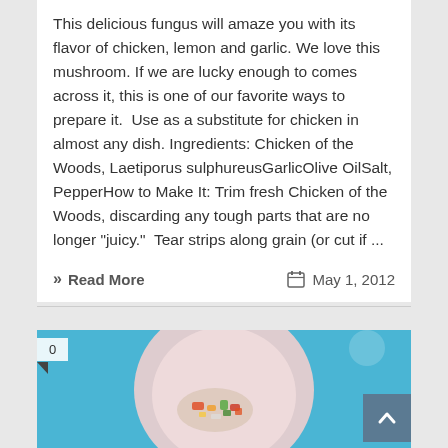This delicious fungus will amaze you with its flavor of chicken, lemon and garlic. We love this mushroom. If we are lucky enough to comes across it, this is one of our favorite ways to prepare it.  Use as a substitute for chicken in almost any dish. Ingredients: Chicken of the Woods, Laetiporus sulphureusGarlicOlive OilSalt, PepperHow to Make It: Trim fresh Chicken of the Woods, discarding any tough parts that are no longer "juicy."  Tear strips along grain (or cut if ...
» Read More    May 1, 2012
[Figure (photo): Photo of a dish on a pink/white plate with colorful food items (vegetables, mushrooms) on a blue background. A white counter badge showing '0' is in the top-left corner of the image. A dark blue-grey scroll-to-top button with an up arrow is in the bottom-right corner.]